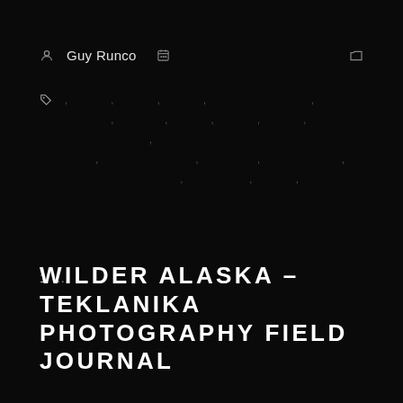Guy Runco
, , , , , , , , , , , , , , , , , , , ,
1 ...
WILDER ALASKA – TEKLANIKA PHOTOGRAPHY FIELD JOURNAL